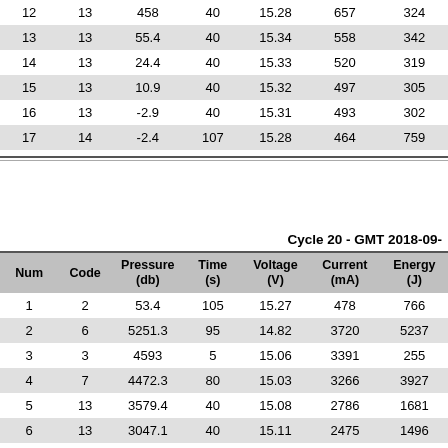| Num | Code | Pressure (db) | Time (s) | Voltage (V) | Current (mA) | Energy (J) |
| --- | --- | --- | --- | --- | --- | --- |
| 12 | 13 | 458 | 40 | 15.28 | 657 | 324 |
| 13 | 13 | 55.4 | 40 | 15.34 | 558 | 342 |
| 14 | 13 | 24.4 | 40 | 15.33 | 520 | 319 |
| 15 | 13 | 10.9 | 40 | 15.32 | 497 | 305 |
| 16 | 13 | -2.9 | 40 | 15.31 | 493 | 302 |
| 17 | 14 | -2.4 | 107 | 15.28 | 464 | 759 |
Cycle 20 - GMT 2018-09-...
| Num | Code | Pressure (db) | Time (s) | Voltage (V) | Current (mA) | Energy (J) |
| --- | --- | --- | --- | --- | --- | --- |
| 1 | 2 | 53.4 | 105 | 15.27 | 478 | 766 |
| 2 | 6 | 5251.3 | 95 | 14.82 | 3720 | 5237 |
| 3 | 3 | 4593 | 5 | 15.06 | 3391 | 255 |
| 4 | 7 | 4472.3 | 80 | 15.03 | 3266 | 3927 |
| 5 | 13 | 3579.4 | 40 | 15.08 | 2786 | 1681 |
| 6 | 13 | 3047.1 | 40 | 15.11 | 2475 | 1496 |
| 7 | 13 | 2314.7 | 40 | 15.17 | 2018 | 1225 |
| 8 | 13 | 1996.2 | 40 | 15.18 | 1837 | 1115 |